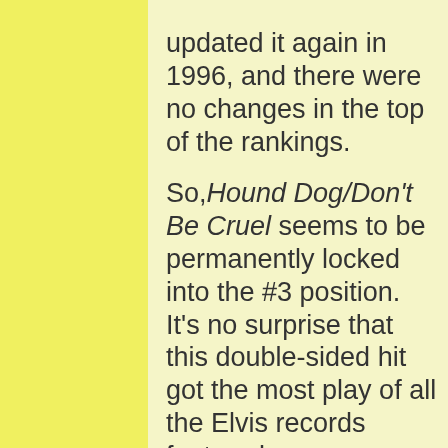updated it again in 1996, and there were no changes in the top of the rankings.

So, Hound Dog/Don't Be Cruel seems to be permanently locked into the #3 position. It's no surprise that this double-sided hit got the most play of all the Elvis records featured on jukeboxes. Hound Dog stayed at the top of the record charts for twelve weeks, and then Don't Be Cruel took over the next week. That's a long